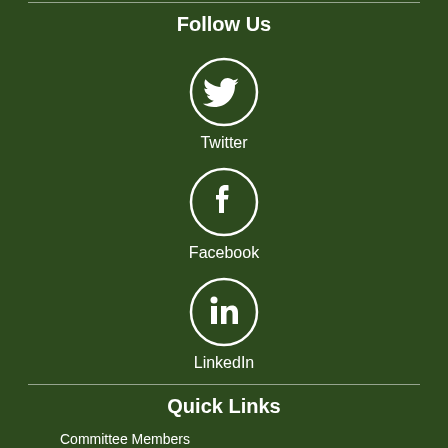Follow Us
[Figure (illustration): Twitter bird icon in a circle]
Twitter
[Figure (illustration): Facebook 'f' icon in a circle]
Facebook
[Figure (illustration): LinkedIn 'in' icon in a circle]
LinkedIn
Quick Links
Committee Members
History of Health Stores